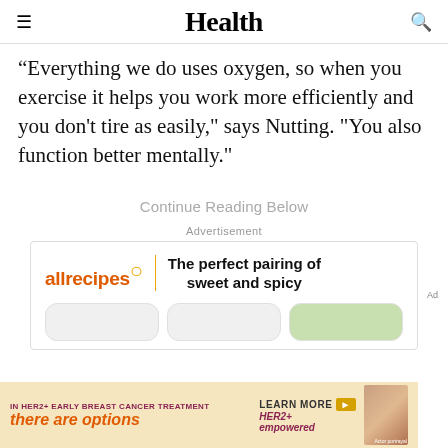Health
"Everything we do uses oxygen, so when you exercise it helps you work more efficiently and you don't tire as easily," says Nutting. "You also function better mentally."
Continue Reading Below
Advertisement
[Figure (other): allrecipes advertisement banner: The perfect pairing of sweet and spicy]
[Figure (other): HER2+ early breast cancer treatment advertisement: there are options, LEARN MORE, HER2+ empowered, Actor portrayal]